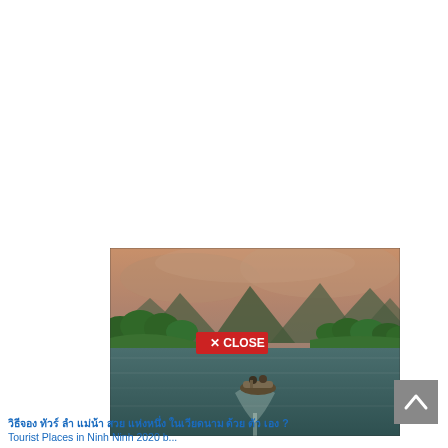[Figure (photo): A scenic river landscape with karst limestone mountains in the background, lush green trees on the banks, a boat on the water, and an overcast orange-pink sky. A red 'X CLOSE' button is overlaid in the center of the image.]
วิธีจอง ทัวร์ ลำ แม่น้า สวย แห่งหนึ่ง ในเวียดนาม ด้วย ตัว เอง ? Tourist Places in Ninh Ninh 2020 b...